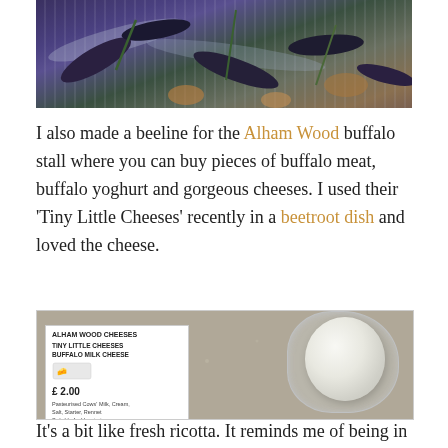[Figure (photo): Top portion of a photo showing purple/dark leaves or vegetables in plastic packaging on a surface]
I also made a beeline for the Alham Wood buffalo stall where you can buy pieces of buffalo meat, buffalo yoghurt and gorgeous cheeses. I used their 'Tiny Little Cheeses' recently in a beetroot dish and loved the cheese.
[Figure (photo): Photo of a package of Alham Wood Cheeses 'Tiny Little Cheeses' Buffalo Milk Cheese priced at £2.00, showing a white round cheese ball in clear plastic packaging on a granite surface. Label shows Packed: 13/128, Best before: 04/06/13]
It's a bit like fresh ricotta. It reminds me of being in Bari,